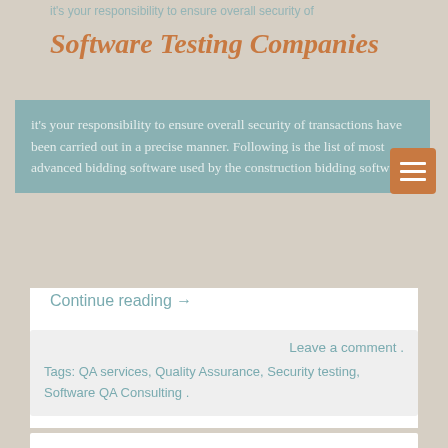Software Testing Companies
it's your responsibility to ensure overall security of transactions have been carried out in a precise manner. Following is the list of most advanced bidding software used by the construction bidding software
Continue reading →
Leave a comment .
Tags: QA services, Quality Assurance, Security testing, Software QA Consulting .
Next Page »